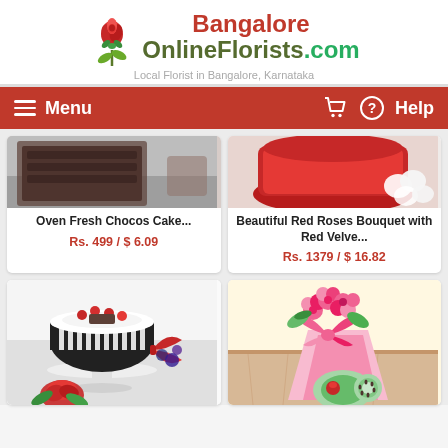[Figure (logo): BangaloreOnlineFlorists.com logo with rose icon and tagline 'Local Florist in Bangalore, Karnataka']
[Figure (screenshot): Navigation bar with hamburger menu (Menu), cart icon, and Help button on red background]
[Figure (photo): Top portion of Oven Fresh Chocos Cake product photo]
Oven Fresh Chocos Cake...
Rs. 499 / $ 6.09
[Figure (photo): Top portion of Beautiful Red Roses Bouquet with Red Velve product photo showing red cake and white meringues]
Beautiful Red Roses Bouquet with Red Velve...
Rs. 1379 / $ 16.82
[Figure (photo): Black forest cake with cherries on top, red bow, and red rose decoration]
[Figure (photo): Pink roses bouquet in pink wrapping with fruit and chocolate decoration]